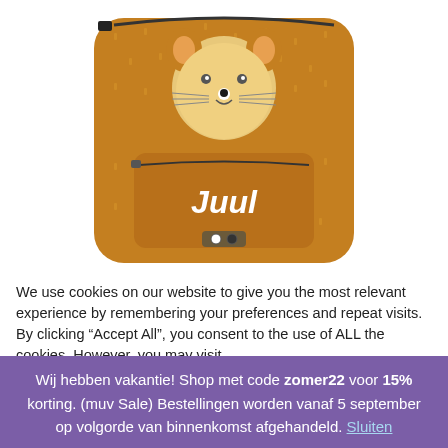[Figure (photo): A golden-brown children's backpack with a lion face design on the front. The front pocket has the name 'Juul' written in white text. There is a small clasp/lock on the bottom of the front pocket.]
We use cookies on our website to give you the most relevant experience by remembering your preferences and repeat visits. By clicking “Accept All”, you consent to the use of ALL the cookies. However, you may visit “Cookie Settings” to provide a controlled consent.
Wij hebben vakantie! Shop met code zomer22 voor 15% korting. (muv Sale) Bestellingen worden vanaf 5 september op volgorde van binnenkomst afgehandeld. Sluiten